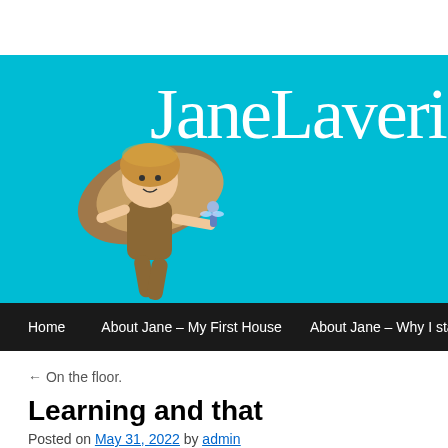JaneLaveri...
[Figure (illustration): Angel doll figure holding a small fairy, seated, with wings, on cyan/turquoise background]
Home | About Jane – My First House | About Jane – Why I started t...
← On the floor.
Learning and that
Posted on May 31, 2022 by admin
This is the second time I have written the introduction to